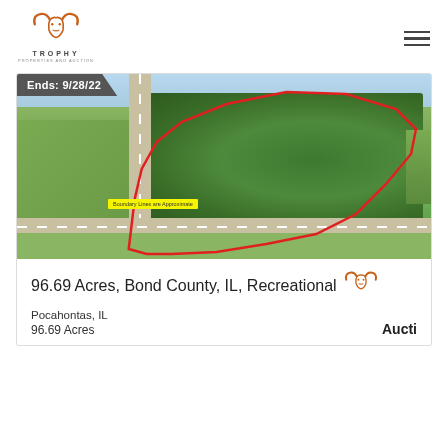TROPHY PROPERTIES AND AUCTION
[Figure (photo): Aerial drone photograph of 96.69 acres of recreational land in Bond County, IL near Pocahontas. The property is outlined with a red boundary polygon showing wooded acreage bordered by a highway intersection. A yellow label reads 'Boundary Lines are Approximate'. The image has a dark gray banner at top-left reading 'Ends: 9/28/22'.]
96.69 Acres, Bond County, IL, Recreational
Pocahontas, IL
96.69 Acres
Aucti...